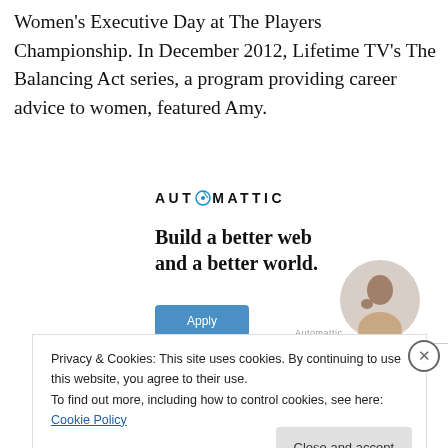Women's Executive Day at The Players Championship. In December 2012, Lifetime TV's The Balancing Act series, a program providing career advice to women, featured Amy.
[Figure (other): Automattic advertisement: logo, tagline 'Build a better web and a better world.', Apply button, and circular photo of person]
Privacy & Cookies: This site uses cookies. By continuing to use this website, you agree to their use.
To find out more, including how to control cookies, see here: Cookie Policy